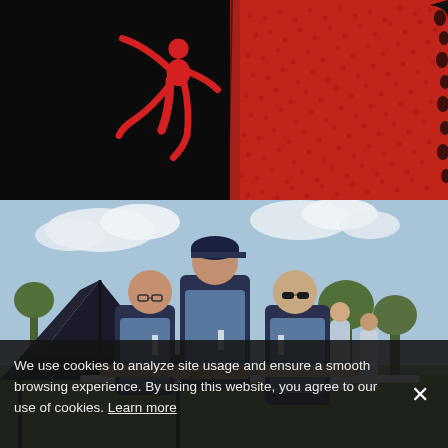[Figure (photo): Close-up macro photograph of a black and red Air Jordan sneaker showing the Jumpman logo (silhouette of basketball player jumping) in red on black textile material, with red netting/mesh visible on the right side and black lace eyelets]
[Figure (photo): Outdoor event or team-building activity photo showing three men in dark vests over blue shirts holding a metal pole or bar together in a sunny field. A black event tent is visible in the background along with other participants and green trees against a partly cloudy sky.]
We use cookies to analyze site usage and ensure a smooth browsing experience. By using this website, you agree to our use of cookies. Learn more